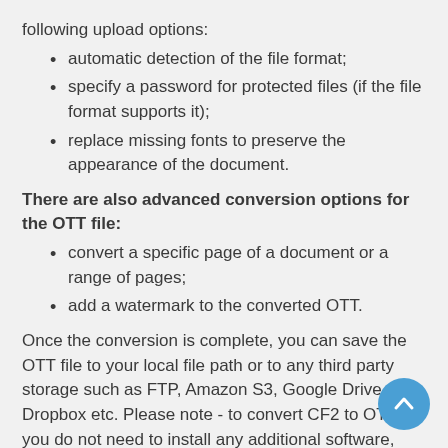following upload options:
automatic detection of the file format;
specify a password for protected files (if the file format supports it);
replace missing fonts to preserve the appearance of the document.
There are also advanced conversion options for the OTT file:
convert a specific page of a document or a range of pages;
add a watermark to the converted OTT.
Once the conversion is complete, you can save the OTT file to your local file path or to any third party storage such as FTP, Amazon S3, Google Drive, Dropbox etc. Please note - to convert CF2 to OTT, you do not need to install any additional software, such as MS Office, Open Office, Adobe Acrobat Reader etc